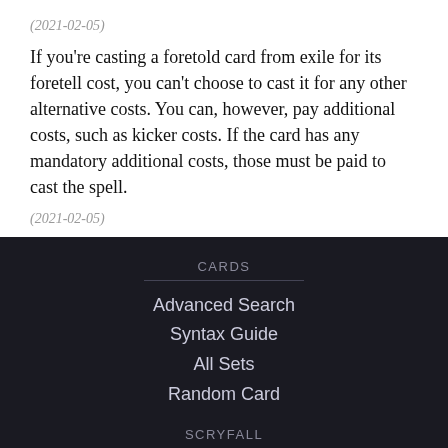(2021-02-05)
If you're casting a foretold card from exile for its foretell cost, you can't choose to cast it for any other alternative costs. You can, however, pay additional costs, such as kicker costs. If the card has any mandatory additional costs, those must be paid to cast the spell.
(2021-02-05)
CARDS
Advanced Search
Syntax Guide
All Sets
Random Card
SCRYFALL
Slack & Discord Bots
Site FAQs & Help
Scryfall Blog
Scryfall Tagger
Art Game